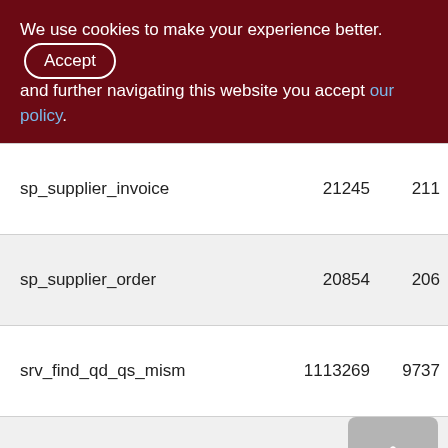We use cookies to make your experience better. By accepting and further navigating this website you accept our policy.
| Name | Val1 | Val2 |
| --- | --- | --- |
| sp_supplier_invoice | 21245 | 211 |
| sp_supplier_order | 20854 | 206 |
| srv_find_qd_qs_mism | 1113269 | 9737 |
| srv_make_invnt_saldo | 1802 | 18 |
| srv_make_money_saldo | 35?0 | 35 |